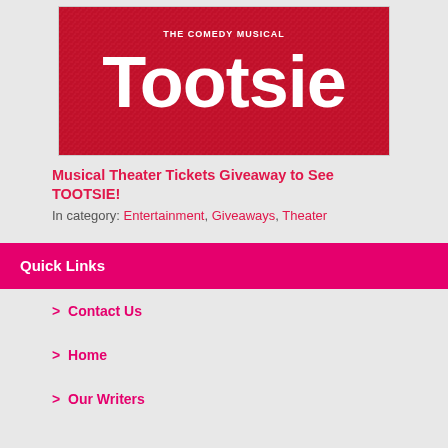[Figure (illustration): Tootsie The Comedy Musical promotional banner with white text on red glitter background]
Musical Theater Tickets Giveaway to See TOOTSIE!
In category: Entertainment, Giveaways, Theater
Quick Links
> Contact Us
> Home
> Our Writers